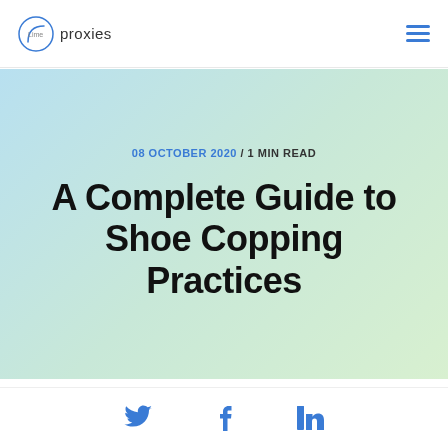Lime proxies — navigation header with hamburger menu
[Figure (screenshot): Hero banner with gradient background (light blue to light green). Contains date/read time and article title.]
08 OCTOBER 2020 / 1 MIN READ
A Complete Guide to Shoe Copping Practices
[Figure (infographic): Social media share icons: Twitter (bird/t), Facebook (f), LinkedIn (in)]